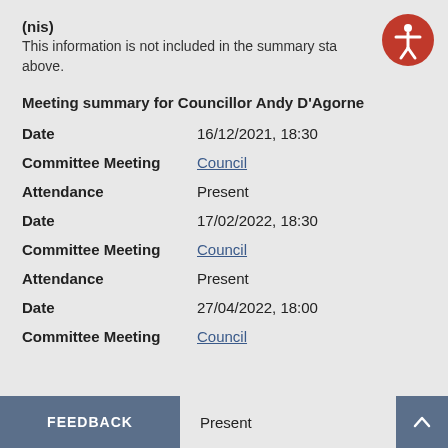(nis)
This information is not included in the summary statement above.
Meeting summary for Councillor Andy D'Agorne
Date    16/12/2021, 18:30
Committee Meeting    Council
Attendance    Present
Date    17/02/2022, 18:30
Committee Meeting    Council
Attendance    Present
Date    27/04/2022, 18:00
Committee Meeting    Council
FEEDBACK    Present